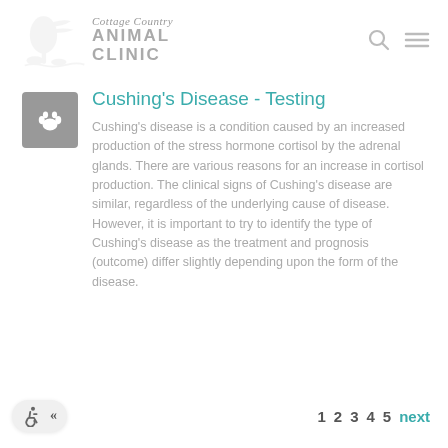Cottage Country Animal Clinic
Cushing's Disease - Testing
Cushing's disease is a condition caused by an increased production of the stress hormone cortisol by the adrenal glands. There are various reasons for an increase in cortisol production. The clinical signs of Cushing's disease are similar, regardless of the underlying cause of disease. However, it is important to try to identify the type of Cushing's disease as the treatment and prognosis (outcome) differ slightly depending upon the form of the disease.
1 2 3 4 5 next